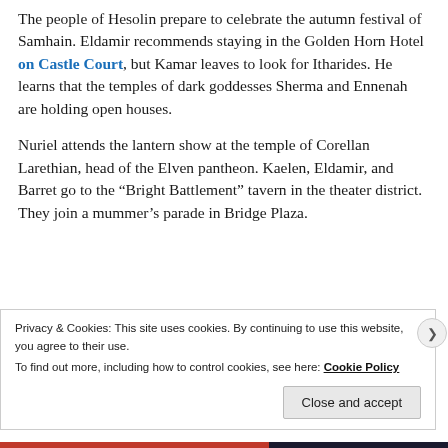The people of Hesolin prepare to celebrate the autumn festival of Samhain. Eldamir recommends staying in the Golden Horn Hotel on Castle Court, but Kamar leaves to look for Itharides. He learns that the temples of dark goddesses Sherma and Ennenah are holding open houses.
Nuriel attends the lantern show at the temple of Corellan Larethian, head of the Elven pantheon. Kaelen, Eldamir, and Barret go to the “Bright Battlement” tavern in the theater district. They join a mummer’s parade in Bridge Plaza.
Privacy & Cookies: This site uses cookies. By continuing to use this website, you agree to their use.
To find out more, including how to control cookies, see here: Cookie Policy